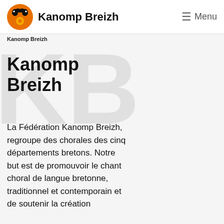Kanomp Breizh — Menu
Kanomp Breizh
Kanomp Breizh
La Fédération Kanomp Breizh, regroupe des chorales des cinq départements bretons. Notre but est de promouvoir le chant choral de langue bretonne, traditionnel et contemporain et de soutenir la création